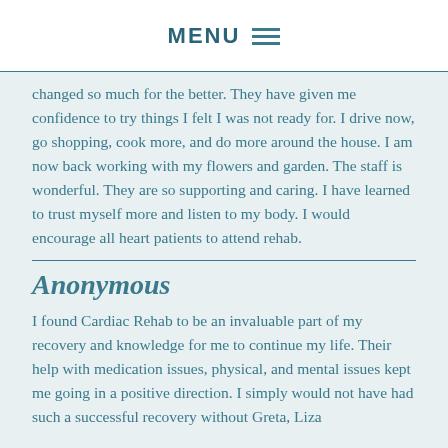MENU
changed so much for the better. They have given me confidence to try things I felt I was not ready for. I drive now, go shopping, cook more, and do more around the house. I am now back working with my flowers and garden. The staff is wonderful. They are so supporting and caring. I have learned to trust myself more and listen to my body. I would encourage all heart patients to attend rehab.
Anonymous
I found Cardiac Rehab to be an invaluable part of my recovery and knowledge for me to continue my life. Their help with medication issues, physical, and mental issues kept me going in a positive direction. I simply would not have had such a successful recovery without Greta, Liza